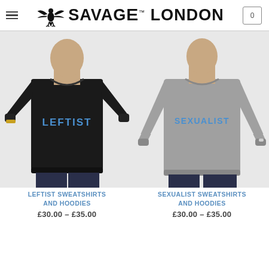SAVAGE LONDON
[Figure (photo): Black sweatshirt with LEFTIST printed in blue on the chest, worn by a male model]
[Figure (photo): Grey sweatshirt with SEXUALIST printed in blue on the chest, worn by a male model]
LEFTIST SWEATSHIRTS AND HOODIES
£30.00 – £35.00
SEXUALIST SWEATSHIRTS AND HOODIES
£30.00 – £35.00